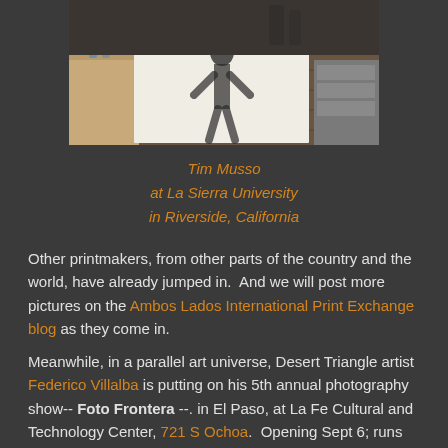[Figure (photo): Photo of a large paper with ink drawing laid on a wooden floor in a studio or university setting, with wooden tables visible on the sides.]
Tim Musso
at La Sierra University
in Riverside, California
Other printmakers, from other parts of the country and the world, have already jumped in.  And we will post more pictures on the Ambos Lados International Print Exchange blog as they come in.
Meanwhile, in a parallel art universe, Desert Triangle artist Federico Villalba is putting on his 5th annual photography show-- Foto Frontera --. in El Paso, at La Fe Cultural and Technology Center, 721 S Ochoa.  Opening Sept 6; runs until Oct 26, 2018.